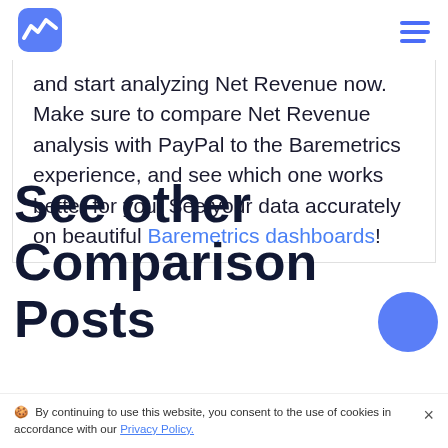Baremetrics logo and navigation
and start analyzing Net Revenue now. Make sure to compare Net Revenue analysis with PayPal to the Baremetrics experience, and see which one works better for you. See your data accurately on beautiful Baremetrics dashboards!
See other Comparison Posts
By continuing to use this website, you consent to the use of cookies in accordance with our Privacy Policy.